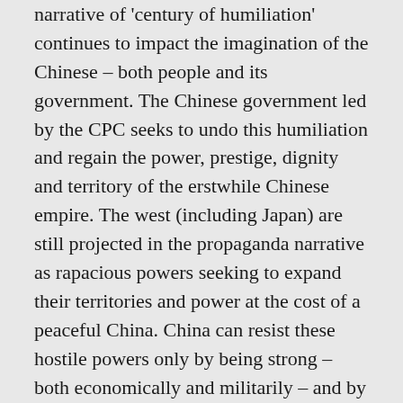narrative of 'century of humiliation' continues to impact the imagination of the Chinese – both people and its government. The Chinese government led by the CPC seeks to undo this humiliation and regain the power, prestige, dignity and territory of the erstwhile Chinese empire. The west (including Japan) are still projected in the propaganda narrative as rapacious powers seeking to expand their territories and power at the cost of a peaceful China. China can resist these hostile powers only by being strong – both economically and militarily – and by being led by a strong government under the CPC. It is this will to power that has made China follow policies that has made it emerge the giant it is today. Not only is it the second